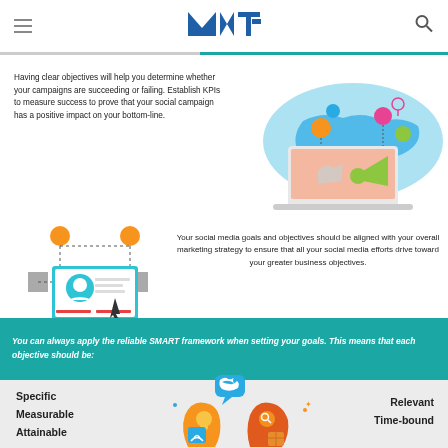MNT logo, hamburger menu, search icon
Having clear objectives will help you determine whether your campaigns are succeeding or failing. Establish KPIs to measure success to prove that your social campaign has a positive impact on your bottom-line.
[Figure (illustration): Social media marketing illustration with world map, laptop, people icons, and megaphone]
[Figure (illustration): Social media profile illustration with laptop, person icon, connection nodes]
Your social media goals and objectives should be aligned with your overall marketing strategy to ensure that all your social media efforts drive toward your greater business objectives.
You can always apply the reliable SMART framework when setting your goals. This means that each objective should be:
Specific
Measurable
Attainable
Relevant
Time-bound
[Figure (illustration): Two silhouetted head profiles with social media icons (Twitter bird, WiFi, lightbulb, magnifying glass)]